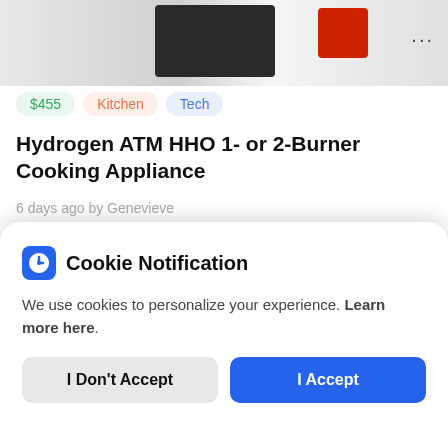[Figure (screenshot): Top portion showing a cooking appliance product image with dark appliance body and red component, with three-dot menu icon in top right]
$455  Kitchen  Tech
Hydrogen ATM HHO 1- or 2-Burner Cooking Appliance
6 days ago by Genevieve
[Figure (photo): Outdoor photo with blue sky, green trees, and person's arm visible, with Kickstarter green circular logo badge on left]
Cookie Notification
We use cookies to personalize your experience. Learn more here.
I Don't Accept  I Accept